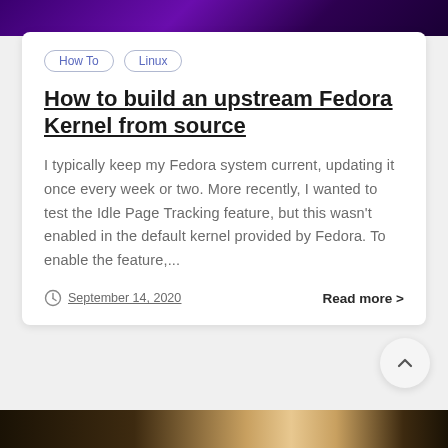[Figure (photo): Dark purple/violet header image at top of page]
How To
Linux
How to build an upstream Fedora Kernel from source
I typically keep my Fedora system current, updating it once every week or two. More recently, I wanted to test the Idle Page Tracking feature, but this wasn't enabled in the default kernel provided by Fedora. To enable the feature,...
September 14, 2020
Read more >
[Figure (photo): Dark image at bottom of page, appears to show an object on a light background]